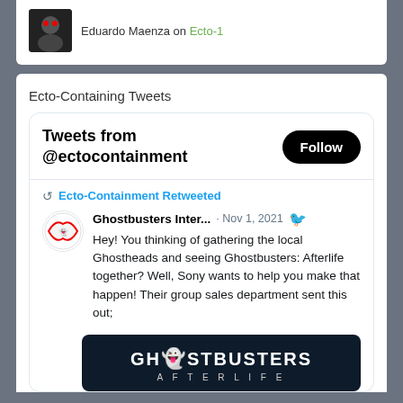Eduardo Maenza on Ecto-1
Ecto-Containing Tweets
Tweets from @ectocontainment
Ecto-Containment Retweeted
Ghostbusters Inter... · Nov 1, 2021
Hey! You thinking of gathering the local Ghostheads and seeing Ghostbusters: Afterlife together? Well, Sony wants to help you make that happen! Their group sales department sent this out;
[Figure (logo): Ghostbusters Afterlife logo on dark background]